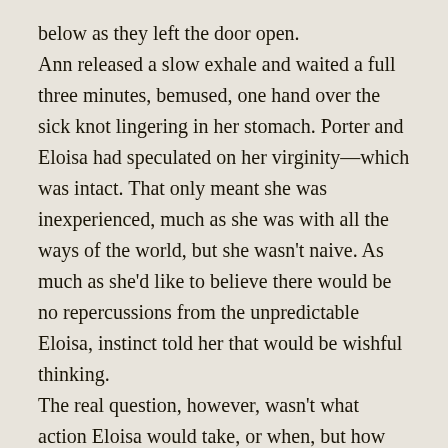below as they left the door open.
Ann released a slow exhale and waited a full three minutes, bemused, one hand over the sick knot lingering in her stomach. Porter and Eloisa had speculated on her virginity—which was intact. That only meant she was inexperienced, much as she was with all the ways of the world, but she wasn't naive. As much as she'd like to believe there would be no repercussions from the unpredictable Eloisa, instinct told her that would be wishful thinking.
The real question, however, wasn't what action Eloisa would take, or when, but how her betrothed would react. Porter didn't have much of an opinion of her to start with, obviously, and he held her fate in his wide hand. Would he care that she had watched his lover coupling, or that she'd eavesdropped on his